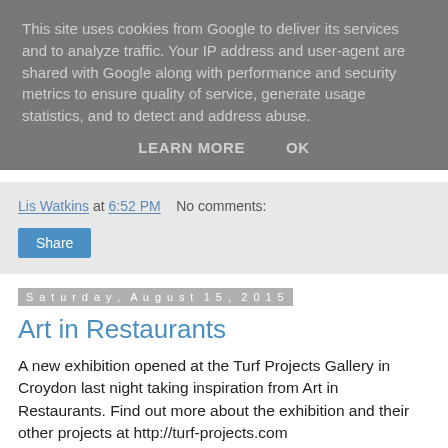This site uses cookies from Google to deliver its services and to analyze traffic. Your IP address and user-agent are shared with Google along with performance and security metrics to ensure quality of service, generate usage statistics, and to detect and address abuse.
LEARN MORE   OK
Lis Watkins at 6:52 PM   No comments:
Share
Saturday, August 15, 2015
Art in Restaurants
A new exhibition opened at the Turf Projects Gallery in Croydon last night taking inspiration from Art in Restaurants. Find out more about the exhibition and their other projects at http://turf-projects.com
[Figure (photo): Bottom strip of a photo, showing warm earthy tones]